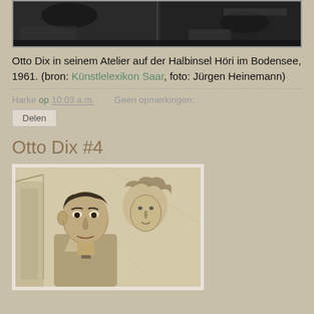[Figure (photo): Black and white photograph of Otto Dix in his atelier, partially cropped at top]
Otto Dix in seinem Atelier auf der Halbinsel Höri im Bodensee, 1961. (bron: Künstlelexikon Saar, foto: Jürgen Heinemann)
Harke op 10:03 a.m.    Geen opmerkingen:
Delen
Otto Dix #4
[Figure (illustration): Pencil or charcoal sketch/drawing of two figures — a man in the foreground with a serious expression and a woman behind him, in the style of Otto Dix]